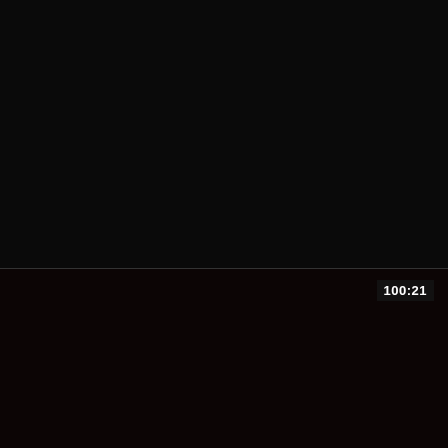[Figure (screenshot): Dark/black video thumbnail panel (top), approximately 268px tall, nearly entirely black]
Asian Bunny Orgy (Uncensored JAV)
41 Ticket >   Fingering >   HD Videos >
[Figure (screenshot): Dark/black video thumbnail panel (bottom), approximately 179px tall, nearly entirely black, with duration badge '100:21' in top-right corner]
100:21